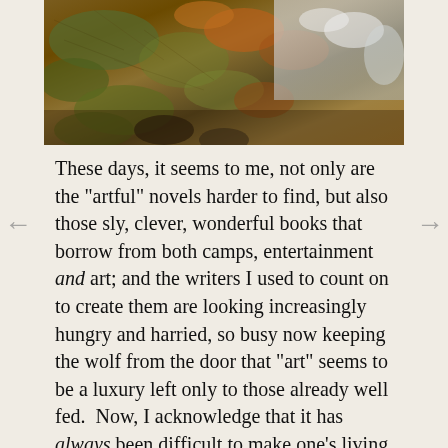[Figure (photo): Close-up nature photograph showing water flowing over mossy rocks with orange, brown, and green textures, and glistening water in the upper right.]
These days, it seems to me, not only are the "artful" novels harder to find, but also those sly, clever, wonderful books that borrow from both camps, entertainment and art; and the writers I used to count on to create them are looking increasingly hungry and harried, so busy now keeping the wolf from the door that "art" seems to be a luxury left only to those already well fed.  Now, I acknowledge that it has always been difficult to make one's living writing artful "mid-list" books (i.e., books with reliable but modest sales) -- but with the mid-list shrinking everywhere, "hard" is becoming